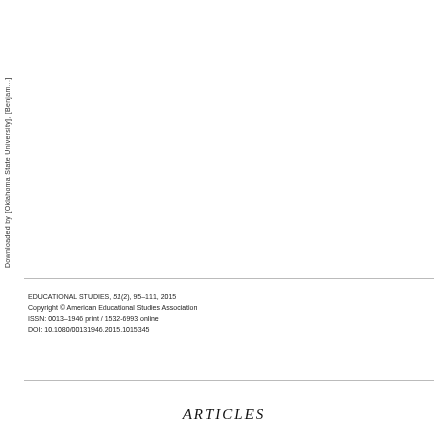Downloaded by [Oklahoma State University], [Benjam...
EDUCATIONAL STUDIES, 51(2), 95–111, 2015
Copyright © American Educational Studies Association
ISSN: 0013-1946 print / 1532-6993 online
DOI: 10.1080/00131946.2015.1015345
ARTICLES